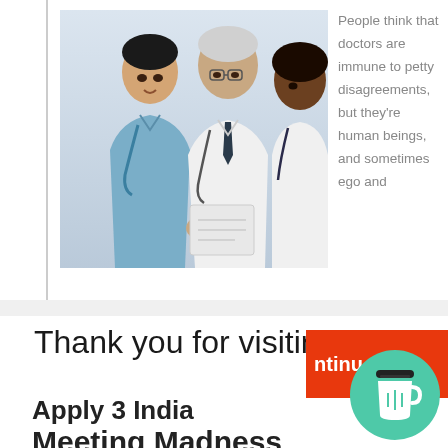[Figure (photo): Three medical professionals in scrubs and white coats looking at a document or tablet together; two men and one woman, one wearing a stethoscope]
People think that doctors are immune to petty disagreements, but they're human beings, and sometimes ego and
Thank you for visiting.
[Figure (other): Red/orange button with text 'ntinu' (partially visible 'Continue' button)]
[Figure (illustration): Teal/green circle with a coffee cup icon (Buy Me a Coffee widget)]
Apply 3 India Meeting Madness